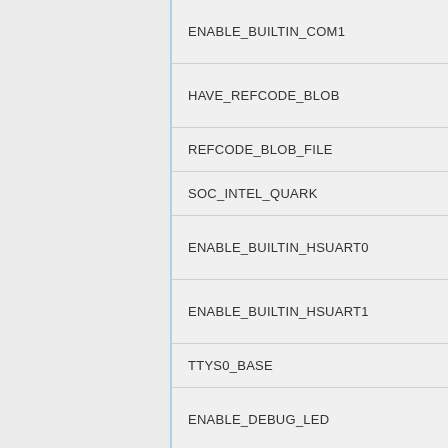ENABLE_BUILTIN_COM1
HAVE_REFCODE_BLOB
REFCODE_BLOB_FILE
SOC_INTEL_QUARK
ENABLE_BUILTIN_HSUART0
ENABLE_BUILTIN_HSUART1
TTYS0_BASE
ENABLE_DEBUG_LED